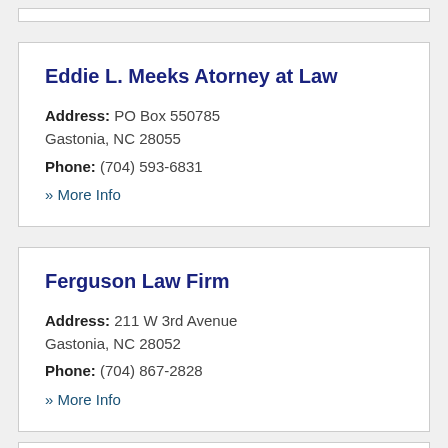Eddie L. Meeks Atorney at Law
Address: PO Box 550785 Gastonia, NC 28055
Phone: (704) 593-6831
» More Info
Ferguson Law Firm
Address: 211 W 3rd Avenue Gastonia, NC 28052
Phone: (704) 867-2828
» More Info